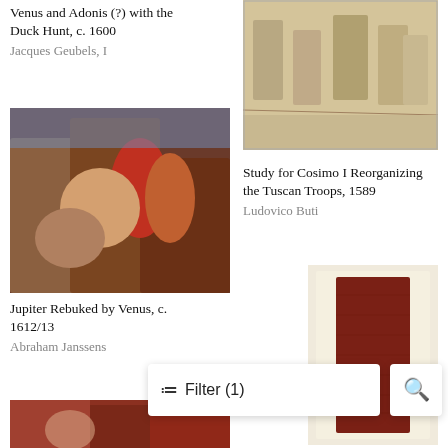[Figure (photo): Painting of Venus and Adonis with a duck hunt scene, partially cropped at top]
Venus and Adonis (?) with the Duck Hunt, c. 1600
Jacques Geubels, I
[Figure (photo): Drawing of soldiers or figures standing, Study for Cosimo I Reorganizing the Tuscan Troops]
Study for Cosimo I Reorganizing the Tuscan Troops, 1589
Ludovico Buti
[Figure (photo): Painting of Jupiter Rebuked by Venus, colorful baroque scene with multiple figures]
Jupiter Rebuked by Venus, c. 1612/13
Abraham Janssens
[Figure (photo): Dark red/brown textile or fabric fragment on cream background]
[Figure (photo): Bottom portion of another painting, partially visible]
Filter (1)
🔍